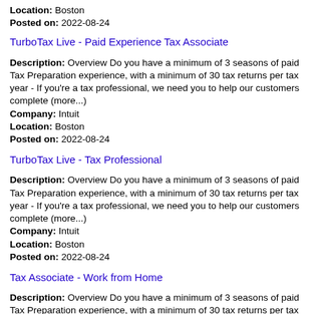Location: Boston
Posted on: 2022-08-24
TurboTax Live - Paid Experience Tax Associate
Description: Overview Do you have a minimum of 3 seasons of paid Tax Preparation experience, with a minimum of 30 tax returns per tax year - If you're a tax professional, we need you to help our customers complete (more...)
Company: Intuit
Location: Boston
Posted on: 2022-08-24
TurboTax Live - Tax Professional
Description: Overview Do you have a minimum of 3 seasons of paid Tax Preparation experience, with a minimum of 30 tax returns per tax year - If you're a tax professional, we need you to help our customers complete (more...)
Company: Intuit
Location: Boston
Posted on: 2022-08-24
Tax Associate - Work from Home
Description: Overview Do you have a minimum of 3 seasons of paid Tax Preparation experience, with a minimum of 30 tax returns per tax year - If you're a tax professional, we need you to help our customers complete (more...)
Company: Intuit
Location: Boston